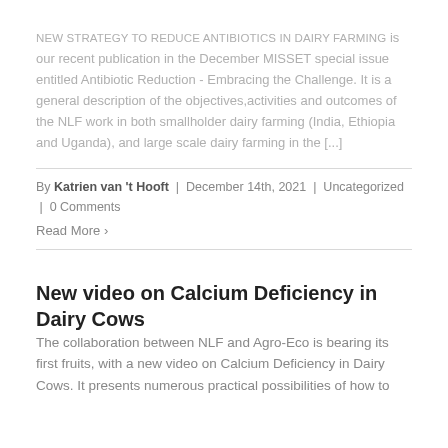NEW STRATEGY TO REDUCE ANTIBIOTICS IN DAIRY FARMING is our recent publication in the December MISSET special issue entitled Antibiotic Reduction - Embracing the Challenge. It is a general description of the objectives,activities and outcomes of the NLF work in both smallholder dairy farming (India, Ethiopia and Uganda), and large scale dairy farming in the [...]
By Katrien van 't Hooft | December 14th, 2021 | Uncategorized | 0 Comments
Read More >
New video on Calcium Deficiency in Dairy Cows
The collaboration between NLF and Agro-Eco is bearing its first fruits, with a new video on Calcium Deficiency in Dairy Cows. It presents numerous practical possibilities of how to